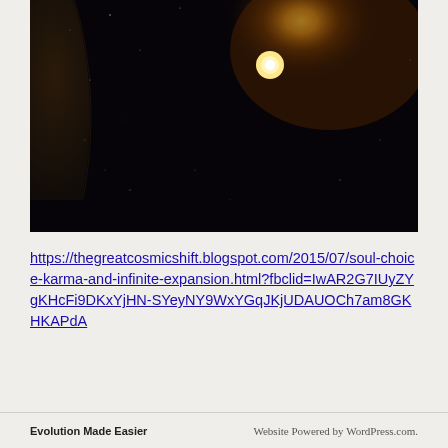[Figure (photo): Space scene showing a dark starfield with a planet or moon silhouette on the left edge and a bright glowing yellow-orange star or sun in the upper center-right area against a very dark background.]
https://thegreatcosmicshift.blogspot.com/2015/07/soul-choice-karma-and-infinite-expansion.html?fbclid=IwAR2G7IUyZYgKHcFi9DKxYjHN-SYeyNY9WxYGqJKjUDAUOCh7am8GKHKAPdA
Evolution Made Easier | Website Powered by WordPress.com.